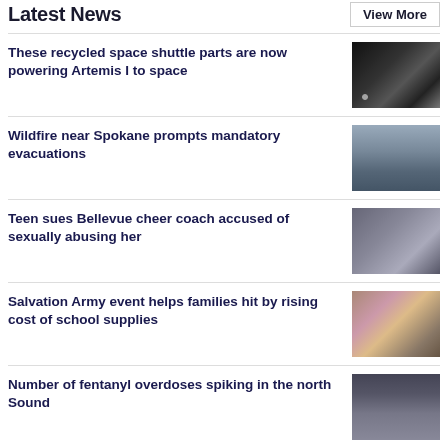Latest News
View More
These recycled space shuttle parts are now powering Artemis I to space
[Figure (photo): Rocket on launch pad at night with bright lights]
Wildfire near Spokane prompts mandatory evacuations
[Figure (photo): Blurry smoke or haze in blue-grey tones]
Teen sues Bellevue cheer coach accused of sexually abusing her
[Figure (photo): Blurry figure in grey-blue tones]
Salvation Army event helps families hit by rising cost of school supplies
[Figure (photo): Person in yellow shirt with blurred background]
Number of fentanyl overdoses spiking in the north Sound
[Figure (photo): Blurry dark blue-grey scene]